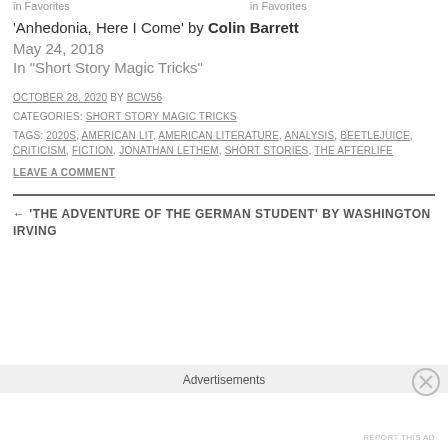in  Favorites   in  Favorites
'Anhedonia, Here I Come' by Colin Barrett
May 24, 2018
In "Short Story Magic Tricks"
OCTOBER 28, 2020 BY BCW56
CATEGORIES: SHORT STORY MAGIC TRICKS
TAGS: 2020S, AMERICAN LIT, AMERICAN LITERATURE, ANALYSIS, BEETLEJUICE, CRITICISM, FICTION, JONATHAN LETHEM, SHORT STORIES, THE AFTERLIFE
LEAVE A COMMENT
← 'THE ADVENTURE OF THE GERMAN STUDENT' BY WASHINGTON IRVING
Advertisements
REPORT THIS AD